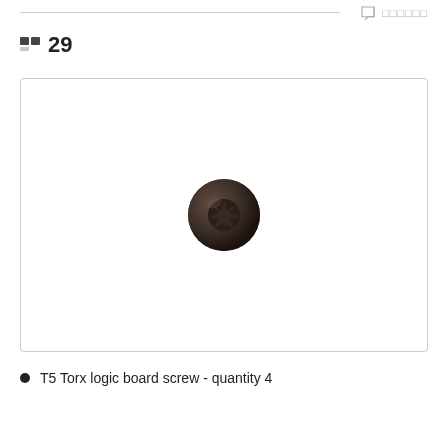□□ 29 □□□□□□
□□ 29
[Figure (photo): Close-up photo of a small dark T5 Torx logic board screw viewed from above, centered on a white background within a bordered image box.]
T5 Torx logic board screw - quantity 4